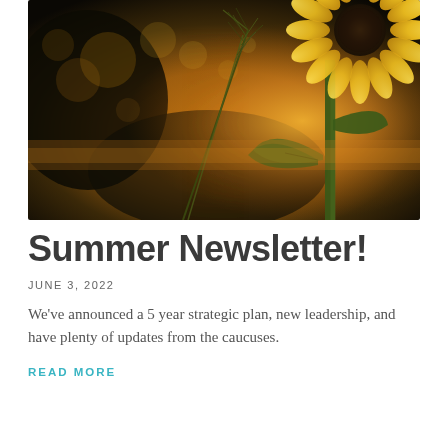[Figure (photo): Close-up photo of a sunflower with yellow petals and green leaves against a warm golden sunset bokeh background, with grass seed heads in the foreground]
Summer Newsletter!
JUNE 3, 2022
We've announced a 5 year strategic plan, new leadership, and have plenty of updates from the caucuses.
READ MORE